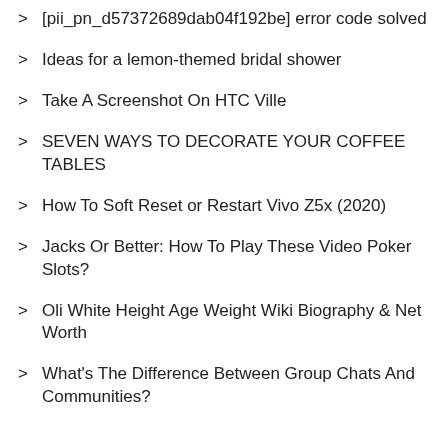[pii_pn_d57372689dab04f192be] error code solved
Ideas for a lemon-themed bridal shower
Take A Screenshot On HTC Ville
SEVEN WAYS TO DECORATE YOUR COFFEE TABLES
How To Soft Reset or Restart Vivo Z5x (2020)
Jacks Or Better: How To Play These Video Poker Slots?
Oli White Height Age Weight Wiki Biography & Net Worth
What's The Difference Between Group Chats And Communities?